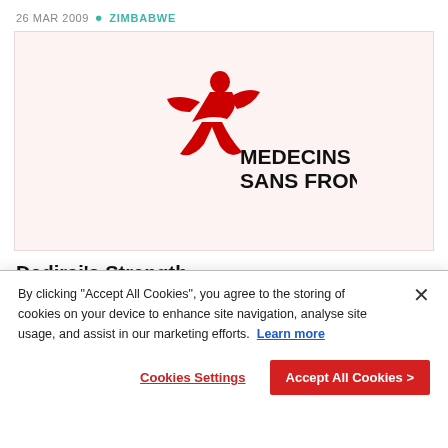26 MAR 2009  ZIMBABWE
[Figure (logo): Médecins Sans Frontières (MSF) logo — red running figure with MEDECINS SANS FRONTIERES text in black, on a light pink background]
Dadirai's Strength
16 MAR 2009  ZIMBABWE
By clicking "Accept All Cookies", you agree to the storing of cookies on your device to enhance site navigation, analyse site usage, and assist in our marketing efforts.  Learn more
Cookies Settings
Accept All Cookies >